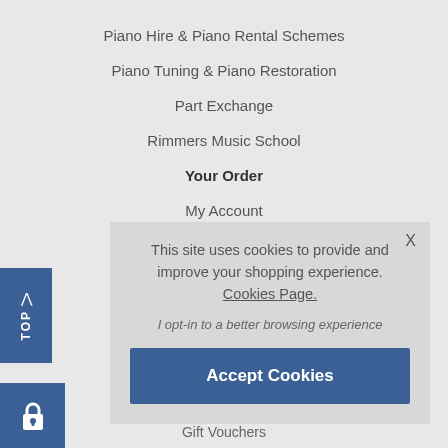Piano Hire & Piano Rental Schemes
Piano Tuning & Piano Restoration
Part Exchange
Rimmers Music School
Your Order
My Account
Your Wishlist
This site uses cookies to provide and improve your shopping experience. Cookies Page. I opt-in to a better browsing experience
Accept Cookies
Gift Vouchers